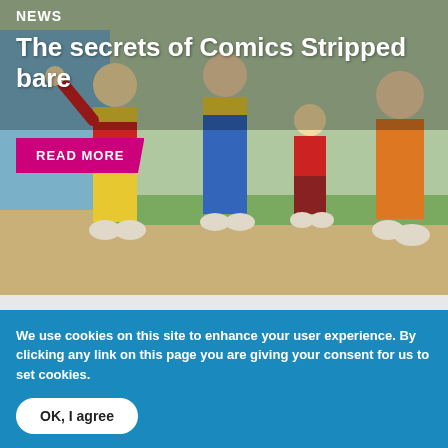[Figure (illustration): Colorful comic-strip style illustration showing several cartoonish figures in bright colored costumes (red, yellow, blue, orange) standing outdoors on a sandy path with green grass and a blue wall in the background.]
News
The secrets of Comics Stripped bare
READ MORE
Popular Tags
We use cookies on this site to enhance your user experience. By clicking any link on this page you are giving your consent for us to set cookies.
OK, I agree